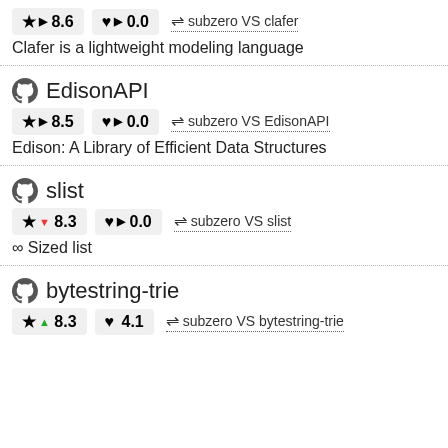★ ▶ 8.6   ♥ ▶ 0.0   ⇌ subzero VS clafer
Clafer is a lightweight modeling language
EdisonAPI
★ ▶ 8.5   ♥ ▶ 0.0   ⇌ subzero VS EdisonAPI
Edison: A Library of Efficient Data Structures
slist
★ ▼ 8.3   ♥ ▶ 0.0   ⇌ subzero VS slist
∞ Sized list
bytestring-trie
★ ▲ 8.3   ♥ 4.1   ⇌ subzero VS bytestring-trie